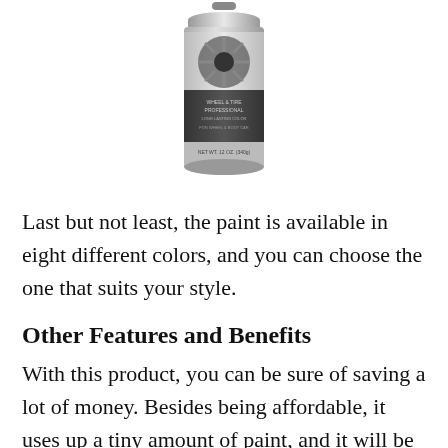[Figure (photo): A spray paint can with a dark label showing a wheel/rim graphic, silver/grey product, 12oz can]
Last but not least, the paint is available in eight different colors, and you can choose the one that suits your style.
Other Features and Benefits
With this product, you can be sure of saving a lot of money. Besides being affordable, it uses up a tiny amount of paint, and it will be a while before you